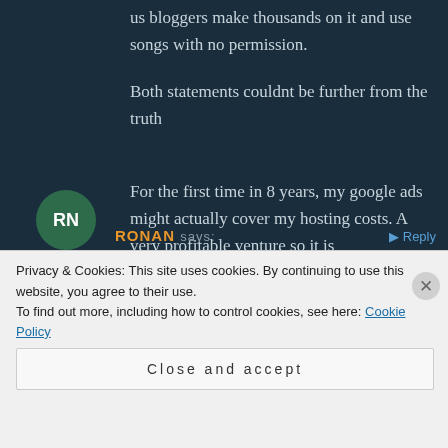us bloggers make thousands on it and use songs with no permission.
Both statements couldnt be further from the truth
For the first time in 8 years, my google ads might actually cover my hosting costs. A very profitable venture so it is
RONAN says:
Privacy & Cookies: This site uses cookies. By continuing to use this website, you agree to their use.
To find out more, including how to control cookies, see here: Cookie Policy
Close and accept